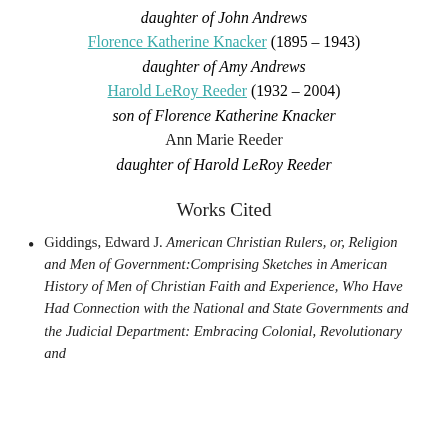daughter of John Andrews
Florence Katherine Knacker (1895 – 1943)
daughter of Amy Andrews
Harold LeRoy Reeder (1932 – 2004)
son of Florence Katherine Knacker
Ann Marie Reeder
daughter of Harold LeRoy Reeder
Works Cited
Giddings, Edward J. American Christian Rulers, or, Religion and Men of Government:Comprising Sketches in American History of Men of Christian Faith and Experience, Who Have Had Connection with the National and State Governments and the Judicial Department: Embracing Colonial, Revolutionary and